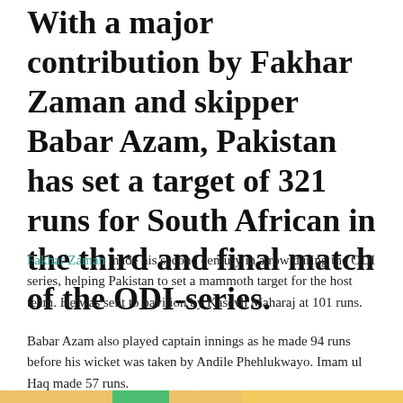With a major contribution by Fakhar Zaman and skipper Babar Azam, Pakistan has set a target of 321 runs for South African in the third and final match of the ODI-series.
Fakhar Zaman made his second century in a row during the ODI series, helping Pakistan to set a mammoth target for the host team. He was sent to pavilion by Kasevh Maharaj at 101 runs.
Babar Azam also played captain innings as he made 94 runs before his wicket was taken by Andile Phehlukwayo. Imam ul Haq made 57 runs.